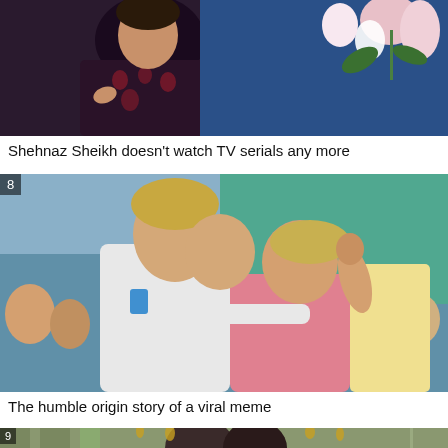[Figure (photo): Woman in dark patterned outfit on a blue-lit TV set with flowers, cropped at top]
Shehnaz Sheikh doesn’t watch TV serials any more
[Figure (photo): Young couple at an event, woman kissing or whispering to man, number badge 8 in corner — viral meme origin photo]
The humble origin story of a viral meme
[Figure (photo): Couple dressed up, number badge 9 in corner, partial view at bottom of page]